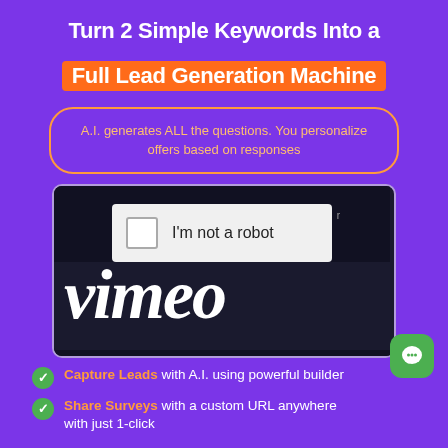Turn 2 Simple Keywords Into a Full Lead Generation Machine
A.I. generates ALL the questions. You personalize offers based on responses
[Figure (screenshot): Screenshot showing a CAPTCHA checkbox with 'I'm not a robot' text, and the Vimeo logo below on a dark background]
Capture Leads with A.I. using powerful builder
Share Surveys with a custom URL anywhere with just 1-click